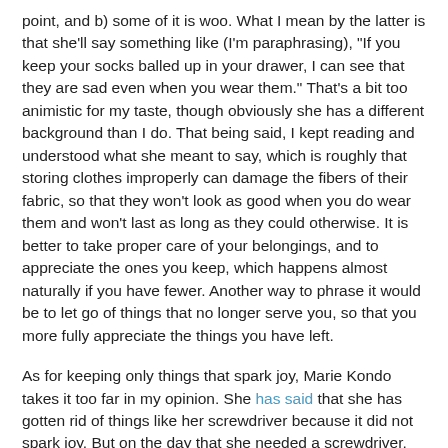point, and b) some of it is woo. What I mean by the latter is that she'll say something like (I'm paraphrasing), "If you keep your socks balled up in your drawer, I can see that they are sad even when you wear them." That's a bit too animistic for my taste, though obviously she has a different background than I do. That being said, I kept reading and understood what she meant to say, which is roughly that storing clothes improperly can damage the fibers of their fabric, so that they won't look as good when you do wear them and won't last as long as they could otherwise. It is better to take proper care of your belongings, and to appreciate the ones you keep, which happens almost naturally if you have fewer. Another way to phrase it would be to let go of things that no longer serve you, so that you more fully appreciate the things you have left.
As for keeping only things that spark joy, Marie Kondo takes it too far in my opinion. She has said that she has gotten rid of things like her screwdriver because it did not spark joy. But on the day that she needed a screwdriver, she used a plastic ruler instead (luckily for her it was a flathead screw!), but broke the ruler and was then sad because the ruler had